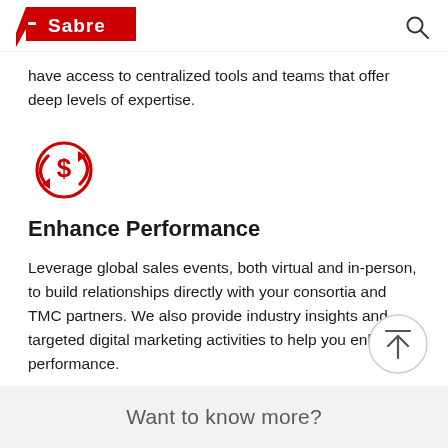Sabre
have access to centralized tools and teams that offer deep levels of expertise.
[Figure (illustration): Red circular icon with a dollar sign in the center and two arrows (one pointing down-left, one pointing up-right) circling around it, representing currency exchange or financial performance.]
Enhance Performance
Leverage global sales events, both virtual and in-person, to build relationships directly with your consortia and TMC partners. We also provide industry insights and targeted digital marketing activities to help you enhance performance.
Want to know more?